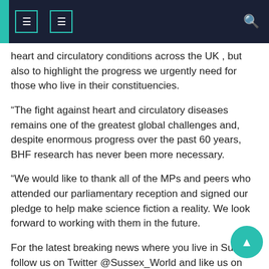Navigation header bar with icons
heart and circulatory conditions across the UK , but also to highlight the progress we urgently need for those who live in their constituencies.
“The fight against heart and circulatory diseases remains one of the greatest global challenges and, despite enormous progress over the past 60 years, BHF research has never been more necessary.
“We would like to thank all of the MPs and peers who attended our parliamentary reception and signed our pledge to help make science fiction a reality. We look forward to working with them in the future.
For the latest breaking news where you live in Sussex, follow us on Twitter @Sussex_World and like us on Facebook @SussexWorldUK